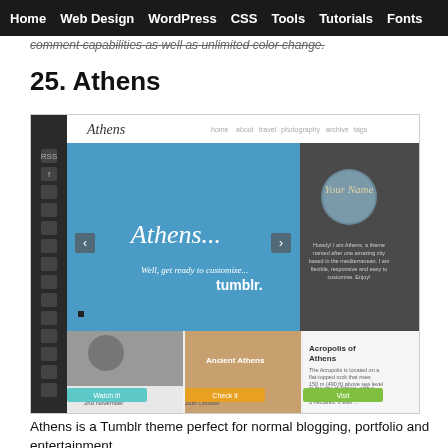Home | Web Design | WordPress | CSS | Tools | Tutorials | Fonts
comment capabilities as well as unlimited color change.
25. Athens
[Figure (screenshot): Screenshot of the Athens Tumblr theme showing a dark sidebar with social icons, a blue hero slider area with 'Athens...' script text and 'Well, get ready to customize...' tagline, a 'tumblr.' logo, a sidebar with 'Your Name' profile section, and four post cards below including 'Ancient Athens', 'Acropolis of Athens', and a quote card.]
Athens is a Tumblr theme perfect for normal blogging, portfolio and entertainment.